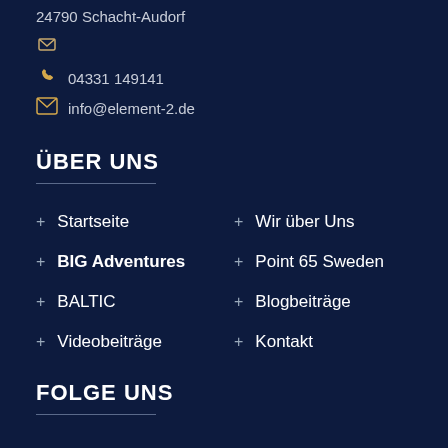24790 Schacht-Audorf
04331 149141
info@element-2.de
ÜBER UNS
Startseite
BIG Adventures
BALTIC
Videobeiträge
Wir über Uns
Point 65 Sweden
Blogbeiträge
Kontakt
FOLGE UNS